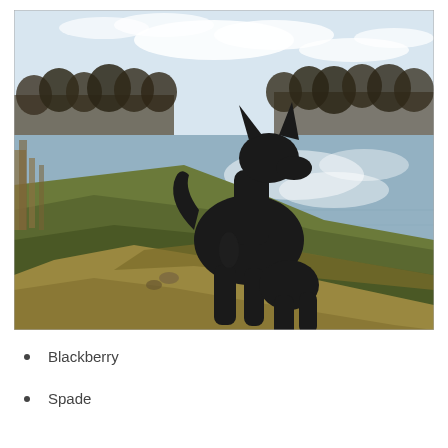[Figure (photo): A black German Shepherd dog sitting on a grassy riverbank, silhouetted against a calm reflective river with trees and cloudy sky in the background.]
Blackberry
Spade